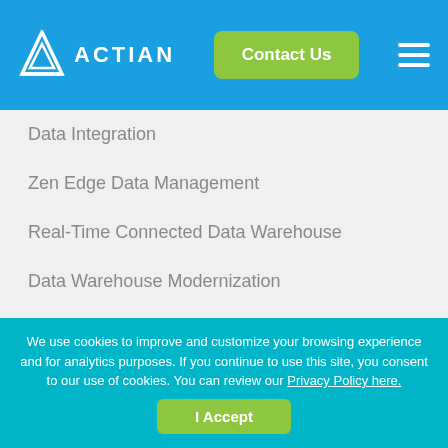ACTIAN | Contact Us
Data Integration
Zen Edge Data Management
Real-Time Connected Data Warehouse
Data Warehouse Modernization
Industries
Financial Services
Healthcare
Manufacturing
We use cookies to improve and customize your browsing experience and for analytics purposes. If you continue to use this site, you consent to our use of cookies. You can review our Privacy Policy here.
I Accept